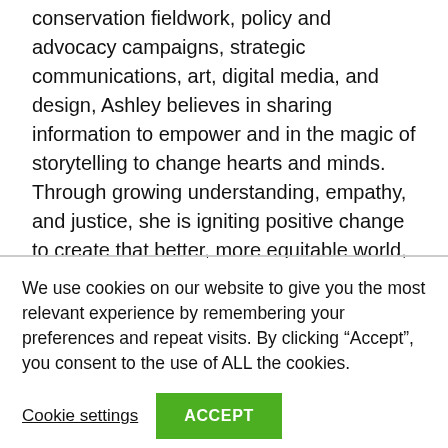conservation fieldwork, policy and advocacy campaigns, strategic communications, art, digital media, and design, Ashley believes in sharing information to empower and in the magic of storytelling to change hearts and minds. Through growing understanding, empathy, and justice, she is igniting positive change to create that better, more equitable world, every day.
We use cookies on our website to give you the most relevant experience by remembering your preferences and repeat visits. By clicking “Accept”, you consent to the use of ALL the cookies.
Cookie settings
ACCEPT